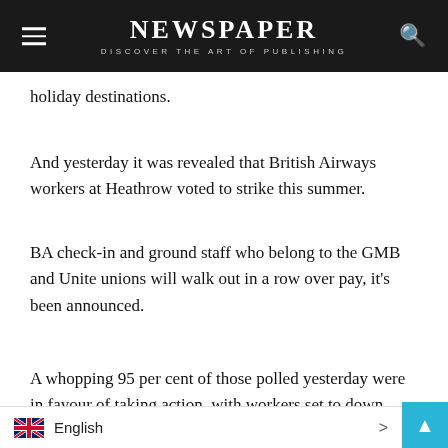NEWSPAPER
DISCOVER THE ART OF PUBLISHING
holiday destinations.
And yesterday it was revealed that British Airways workers at Heathrow voted to strike this summer.
BA check-in and ground staff who belong to the GMB and Unite unions will walk out in a row over pay, it's been announced.
A whopping 95 per cent of those polled yesterday were in favour of taking action, with workers set to down tools as early as July 8.
Around 700 members of staff are now expected to walk out.